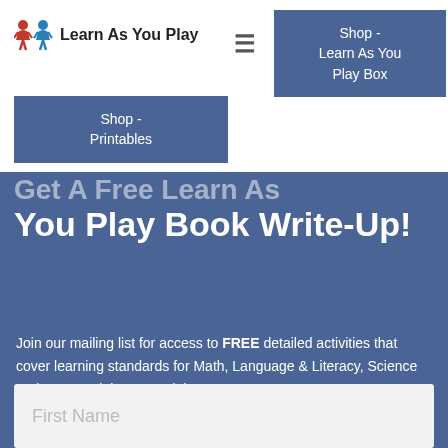[Figure (logo): Learn As You Play logo with two star/person icons in red and blue, followed by text 'Learn As You Play']
≡
Shop - Learn As You Play Box
Shop - Printables
You Play Book Write-Up!
Join our mailing list for access to FREE detailed activities that cover learning standards for Math, Language & Literacy, Science and Art sent right to your inbox!
First Name